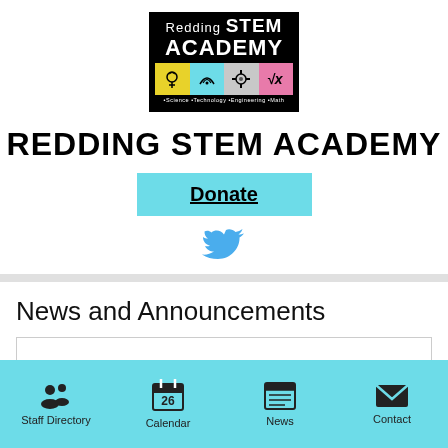[Figure (logo): Redding STEM Academy logo with colored science/technology/engineering/math icons]
REDDING STEM ACADEMY
Donate
[Figure (illustration): Twitter bird icon in blue]
News and Announcements
Staff Directory | Calendar | News | Contact